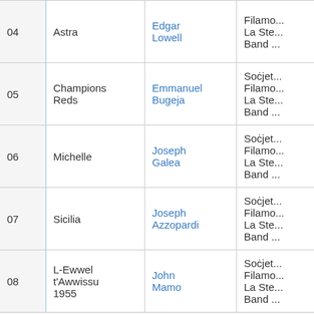| # | Title | Person | Info |
| --- | --- | --- | --- |
| 04 | Astra | Edgar Lowell | Filamo...
La Ste...
Band ... |
| 05 | Champions Reds | Emmanuel Bugeja | Soċjet...
Filamo...
La Ste...
Band ... |
| 06 | Michelle | Joseph Galea | Soċjet...
Filamo...
La Ste...
Band ... |
| 07 | Sicilia | Joseph Azzopardi | Soċjet...
Filamo...
La Ste...
Band ... |
| 08 | L-Ewwel t'Awwissu 1955 | John Mamo | Soċjet...
Filamo...
La Ste...
Band ... |